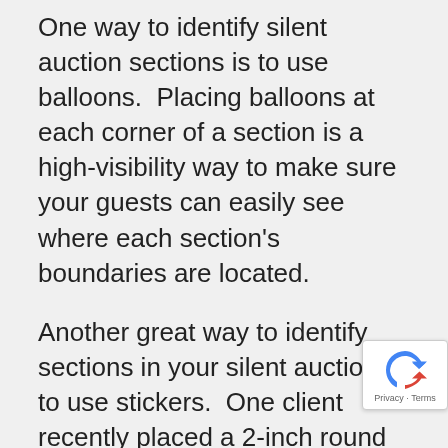One way to identify silent auction sections is to use balloons.  Placing balloons at each corner of a section is a high-visibility way to make sure your guests can easily see where each section's boundaries are located.
Another great way to identify sections in your silent auction is to use stickers.  One client recently placed a 2-inch round colored sticker in the same color of the section on the items/packages and the bid sheets. These stickers also included the silent auction package number. This helped identify the proper item as well as the bid sheet associated with it in addition t… indicating which silent auction section it bel… to.
[Figure (logo): Google reCAPTCHA badge with arrow icon and Privacy · Terms text]